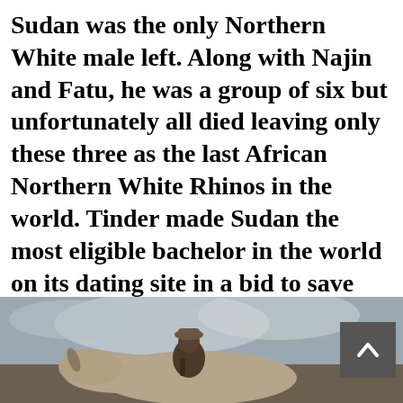Sudan was the only Northern White male left. Along with Najin and Fatu, he was a group of six but unfortunately all died leaving only these three as the last African Northern White Rhinos in the world. Tinder made Sudan the most eligible bachelor in the world on its dating site in a bid to save the species. In his last years, he was also unable to mount or impregnate the females which means the future of the species is more than grim and may soon be extinct.
[Figure (photo): A person in military/ranger attire sitting on or next to a rhinoceros, with a cloudy sky in the background.]